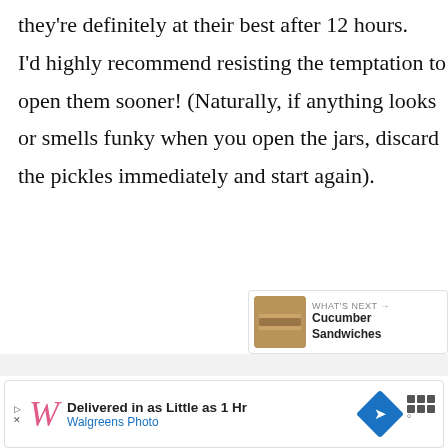they're definitely at their best after 12 hours. I'd highly recommend resisting the temptation to open them sooner! (Naturally, if anything looks or smells funky when you open the jars, discard the pickles immediately and start again).
Adjust the Batch Size: This recipe makes a lot of pickles. That being said, you can halve it to make less, or double it, etc.
[Figure (other): Social share widget with heart icon and share icon, showing 1.5K count]
[Figure (other): What's Next widget showing a thumbnail of Cucumber Sandwiches with label WHAT'S NEXT and arrow]
[Figure (other): Advertisement banner: Walgreens Photo - Delivered in as Little as 1 Hr]